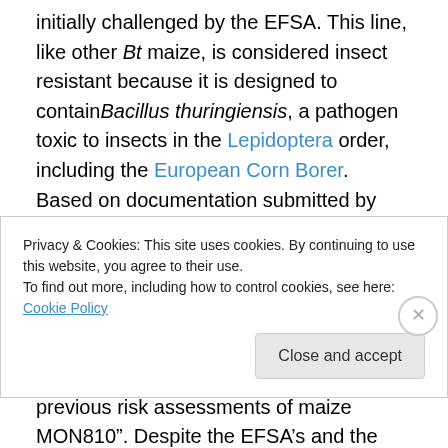initially challenged by the EFSA. This line, like other Bt maize, is considered insect resistant because it is designed to contain Bacillus thuringiensis, a pathogen toxic to insects in the Lepidoptera order, including the European Corn Borer.  Based on documentation submitted by France, the EFSA affirmed in 2012 that "…there [was] no specific scientific evidence, in terms of risk to human and animal health or the environment, that would support the notification of an emergency measure […] and invalidate its previous risk assessments of maize MON810". Despite the EFSA's and the State Council's rejection of the ban.
Privacy & Cookies: This site uses cookies. By continuing to use this website, you agree to their use. To find out more, including how to control cookies, see here: Cookie Policy